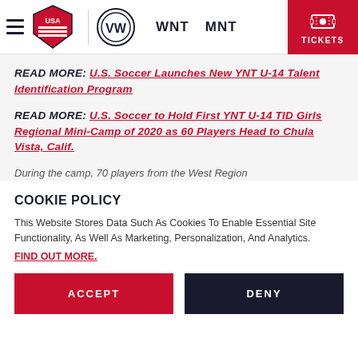[Figure (screenshot): USA Soccer website header with hamburger menu, USA Soccer logo, Volkswagen sponsor logo, WNT and MNT navigation links, and a red TICKETS button in the top right corner]
READ MORE: U.S. Soccer Launches New YNT U-14 Talent Identification Program
READ MORE: U.S. Soccer to Hold First YNT U-14 TID Girls Regional Mini-Camp of 2020 as 60 Players Head to Chula Vista, Calif.
During the camp, 70 players from the West Region
COOKIE POLICY
This Website Stores Data Such As Cookies To Enable Essential Site Functionality, As Well As Marketing, Personalization, And Analytics. FIND OUT MORE.
ACCEPT
DENY